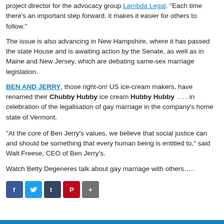project director for the advocacy group Lambda Legal. "Each time there's an important step forward, it makes it easier for others to follow."
The issue is also advancing in New Hampshire, where it has passed the state House and is awaiting action by the Senate, as well as in Maine and New Jersey, which are debating same-sex marriage legislation.
BEN AND JERRY, those right-on! US ice-cream makers, have renamed their Chubby Hubby ice cream Hubby Hubby . . . in celebration of the legalisation of gay marriage in the company's home state of Vermont.
“At the core of Ben Jerry's values, we believe that social justice can and should be something that every human being is entitled to,” said Walt Freese, CEO of Ben Jerry’s.
Watch Betty Degeneres talk about gay marriage with others…..
[Figure (other): Social sharing buttons: Facebook, Twitter, Tumblr, Pinterest, Share]